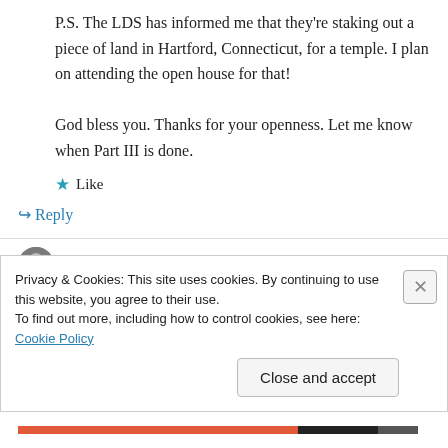P.S. The LDS has informed me that they're staking out a piece of land in Hartford, Connecticut, for a temple. I plan on attending the open house for that!

God bless you. Thanks for your openness. Let me know when Part III is done.
★ Like
↪ Reply
Privacy & Cookies: This site uses cookies. By continuing to use this website, you agree to their use.
To find out more, including how to control cookies, see here: Cookie Policy
Close and accept